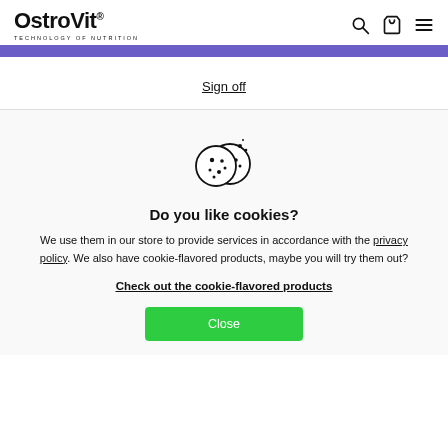OstroVit® TECHNOLOGY OF NUTRITION
Sign off
[Figure (illustration): Cookie icon — two round cookies with dots and small crumbs]
Do you like cookies?
We use them in our store to provide services in accordance with the privacy policy. We also have cookie-flavored products, maybe you will try them out?
Check out the cookie-flavored products
Close